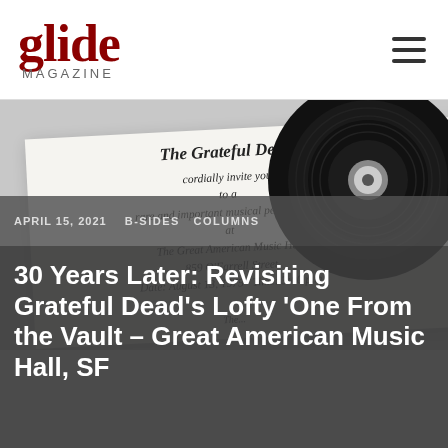glide MAGAZINE
[Figure (photo): A formal event invitation card from The Grateful Dead for a performance at The Great American Music Hall, 859 O'Farrell Street, Date: August 13, 1975, Time: 3:00 p.m., with a vinyl record partially visible behind it.]
APRIL 15, 2021    B-SIDES  COLUMNS
30 Years Later: Revisiting Grateful Dead's Lofty 'One From the Vault – Great American Music Hall, SF